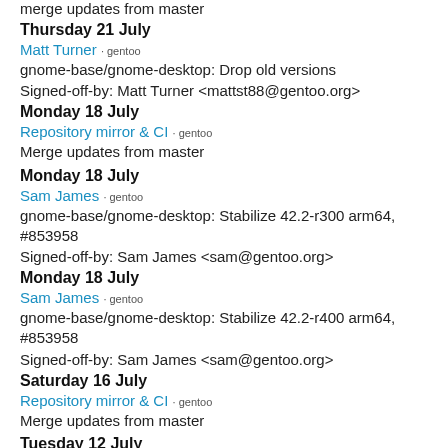merge updates from master
Thursday 21 July
Matt Turner · gentoo
gnome-base/gnome-desktop: Drop old versions
Signed-off-by: Matt Turner <mattst88@gentoo.org>
Monday 18 July
Repository mirror & CI · gentoo
Merge updates from master
Monday 18 July
Sam James · gentoo
gnome-base/gnome-desktop: Stabilize 42.2-r300 arm64, #853958
Signed-off-by: Sam James <sam@gentoo.org>
Monday 18 July
Sam James · gentoo
gnome-base/gnome-desktop: Stabilize 42.2-r400 arm64, #853958
Signed-off-by: Sam James <sam@gentoo.org>
Saturday 16 July
Repository mirror & CI · gentoo
Merge updates from master
Tuesday 12 July
Matt Turner · gentoo